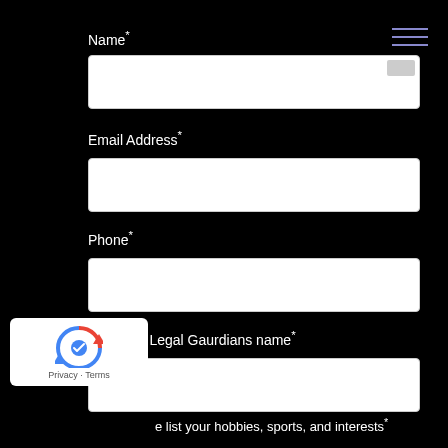Name*
[Figure (other): Empty text input field for Name]
Email Address*
[Figure (other): Empty text input field for Email Address]
Phone*
[Figure (other): Empty text input field for Phone]
Parent or Legal Gaurdians name*
[Figure (other): Empty text input field for Parent or Legal Gaurdians name]
...e list your hobbies, sports, and interests*
[Figure (other): reCAPTCHA widget with Privacy and Terms links]